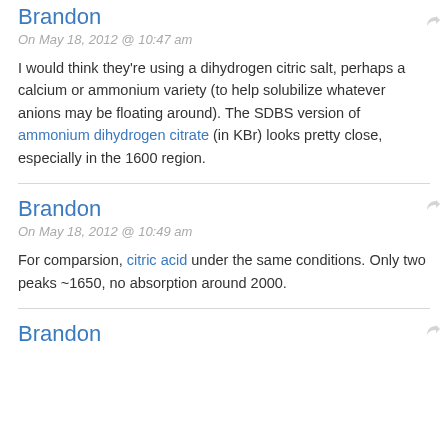Brandon
On May 18, 2012 @ 10:47 am
I would think they're using a dihydrogen citric salt, perhaps a calcium or ammonium variety (to help solubilize whatever anions may be floating around). The SDBS version of ammonium dihydrogen citrate (in KBr) looks pretty close, especially in the 1600 region.
Brandon
On May 18, 2012 @ 10:49 am
For comparsion, citric acid under the same conditions. Only two peaks ~1650, no absorption around 2000.
Brandon